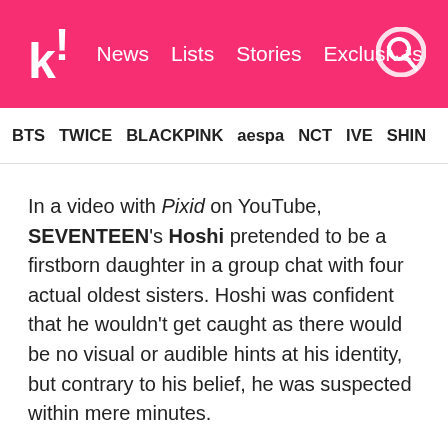k! News  Lists  Stories  Exclusives
BTS  TWICE  BLACKPINK  aespa  NCT  IVE  SHIN
In a video with Pixid on YouTube, SEVENTEEN's Hoshi pretended to be a firstborn daughter in a group chat with four actual oldest sisters. Hoshi was confident that he wouldn't get caught as there would be no visual or audible hints at his identity, but contrary to his belief, he was suspected within mere minutes.
Hoshi is the maknae of the family, and according to his own words, he's also the maknae of his entire extended family. Still, Hoshi was confident that he could pull off the